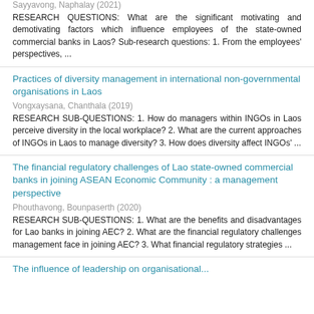Sayyavong, Naphalay (2021)
RESEARCH QUESTIONS: What are the significant motivating and demotivating factors which influence employees of the state-owned commercial banks in Laos? Sub-research questions: 1. From the employees' perspectives, ...
Practices of diversity management in international non-governmental organisations in Laos
Vongxaysana, Chanthala (2019)
RESEARCH SUB-QUESTIONS: 1. How do managers within INGOs in Laos perceive diversity in the local workplace? 2. What are the current approaches of INGOs in Laos to manage diversity? 3. How does diversity affect INGOs' ...
The financial regulatory challenges of Lao state-owned commercial banks in joining ASEAN Economic Community : a management perspective
Phouthavong, Bounpaserth (2020)
RESEARCH SUB-QUESTIONS: 1. What are the benefits and disadvantages for Lao banks in joining AEC? 2. What are the financial regulatory challenges management face in joining AEC? 3. What financial regulatory strategies ...
The influence of leadership on organisational...